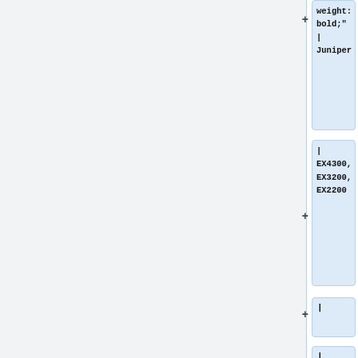[Figure (screenshot): Wikipedia diff view showing code blocks with additions. Three blue-highlighted diff blocks on the right column showing: 'weight: bold;" | Juniper', '| EX4300, EX3200, EX2200', '|', and '|'. Two white plain blocks at bottom showing '|-' and '|}' in both left and right columns.]
Revision as of 11:02, 1 September 2016
PoE-IN compatibility
This document clarifies PoE-IN compatibility of MikroTik RouterBOARD hardware.